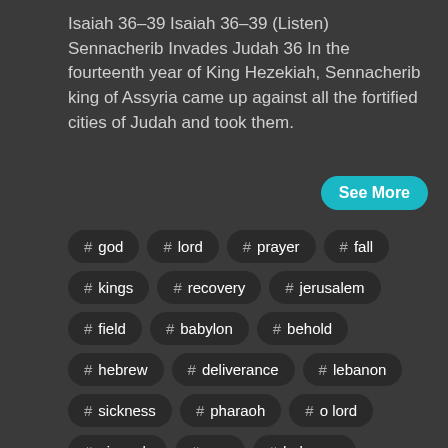Isaiah 36–39 Isaiah 36–39 (Listen) Sennacherib Invades Judah 36 In the fourteenth year of King Hezekiah, Sennacherib king of Assyria came up against all the fortified cities of Judah and took them.
See More
# god
# lord
# prayer
# fall
# kings
# recovery
# jerusalem
# field
# babylon
# behold
# hebrew
# deliverance
# lebanon
# sickness
# pharaoh
# o lord
# nineveh
# esv
# holy one